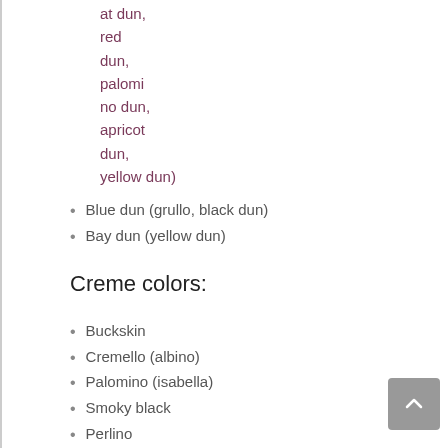at dun, red dun, palomi no dun, apricot dun, yellow dun)
Blue dun (grullo, black dun)
Bay dun (yellow dun)
Creme colors:
Buckskin
Cremello (albino)
Palomino (isabella)
Smoky black
Perlino
Silver colors: